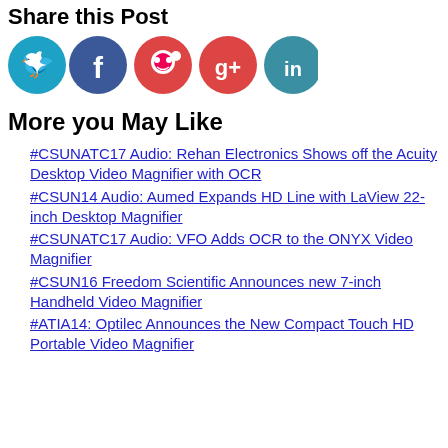Share this Post
[Figure (illustration): Social media share icons: Twitter (blue circle), Facebook (blue circle), Reddit (red circle), Google+ (red circle), LinkedIn (teal circle)]
More you May Like
#CSUNATC17 Audio: Rehan Electronics Shows off the Acuity Desktop Video Magnifier with OCR
#CSUN14 Audio: Aumed Expands HD Line with LaView 22-inch Desktop Magnifier
#CSUNATC17 Audio: VFO Adds OCR to the ONYX Video Magnifier
#CSUN16 Freedom Scientific Announces new 7-inch Handheld Video Magnifier
#ATIA14: Optilec Announces the New Compact Touch HD Portable Video Magnifier